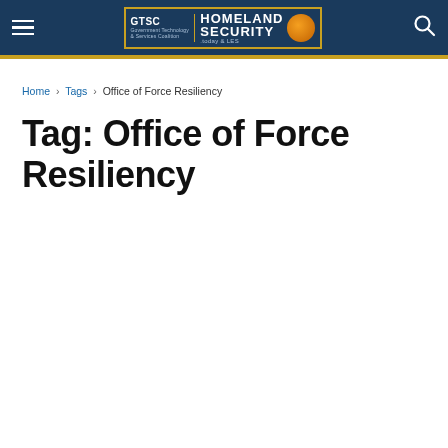GTSC Homeland Security Today — navigation header
Home › Tags › Office of Force Resiliency
Tag: Office of Force Resiliency